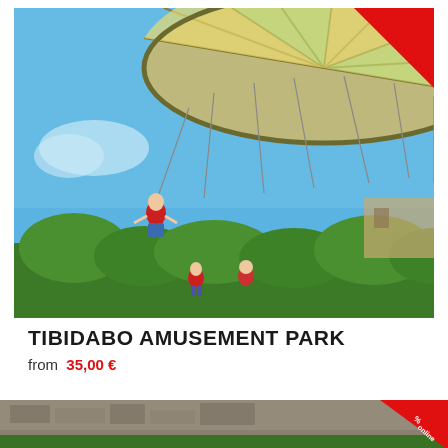[Figure (photo): Amusement park swing ride (chair-o-planes) photographed from below, showing riders suspended in the air with colorful carousel top, blue sky background and trees. Red discount badge in top-right corner.]
TIBIDABO AMUSEMENT PARK
from  35,00 €
[Figure (photo): Partial view of a second attraction listing, showing stone/rock background with red discount badge showing percentage and 'online' text.]